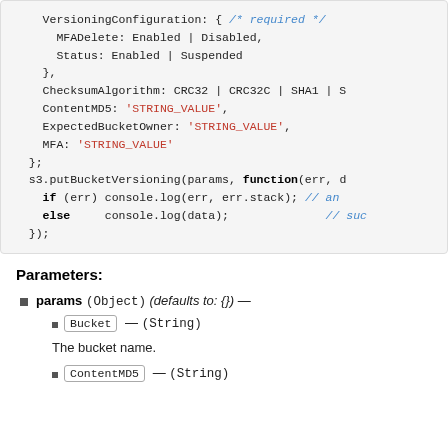[Figure (screenshot): Code block showing JavaScript AWS S3 putBucketVersioning call with VersioningConfiguration, ChecksumAlgorithm, ContentMD5, ExpectedBucketOwner, MFA parameters and callback function]
Parameters:
params (Object) (defaults to: {}) —
Bucket — (String)
The bucket name.
ContentMD5 — (String)